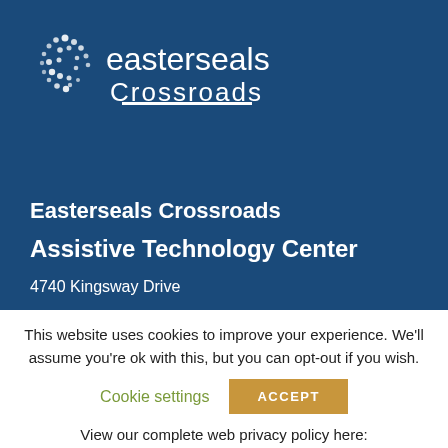[Figure (logo): Easterseals Crossroads logo with dot pattern and white horizontal line on dark blue background]
Easterseals Crossroads
Assistive Technology Center
4740 Kingsway Drive
This website uses cookies to improve your experience. We'll assume you're ok with this, but you can opt-out if you wish.
Cookie settings
ACCEPT
View our complete web privacy policy here:
https://www.eastersealstech.com/privacy-practices/